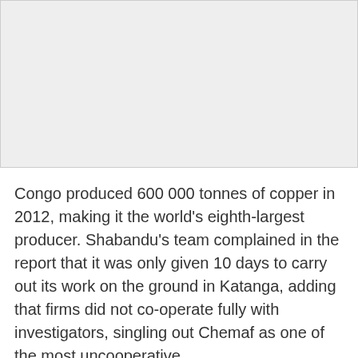[Figure (photo): Placeholder image area (grey rectangle), likely a photograph related to copper mining or Katanga region]
Congo produced 600 000 tonnes of copper in 2012, making it the world's eighth-largest producer. Shabandu's team complained in the report that it was only given 10 days to carry out its work on the ground in Katanga, adding that firms did not co-operate fully with investigators, singling out Chemaf as one of the most uncooperative.